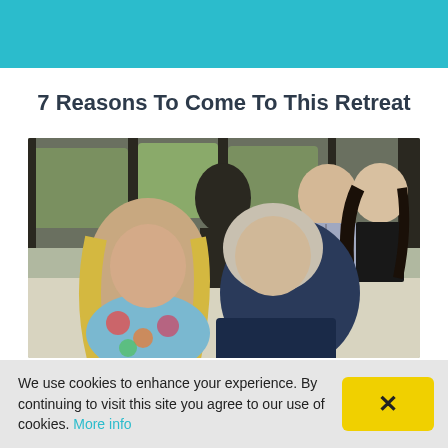7 Reasons To Come To This Retreat
[Figure (photo): Group of people in a meeting or workshop setting, two people in the foreground appear to be having a conversation — a woman with long blonde hair in a floral top and a man with short grey hair in a dark navy top. In the background, a man and a woman are seated at a table near large windows with greenery visible outside.]
We use cookies to enhance your experience. By continuing to visit this site you agree to our use of cookies. More info